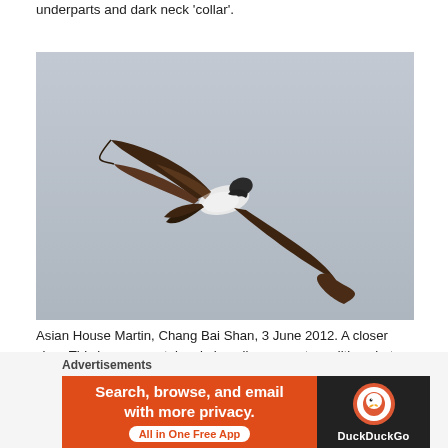underparts and dark neck 'collar'.
[Figure (photo): Asian House Martin in flight photographed from below against an overcast grey sky, showing dark underwing coverts, white underparts, and spread tail and wings.]
Asian House Martin, Chang Bai Shan, 3 June 2012. A closer view. This image was taken in heavily overcast conditions but still shows the contrasting dark underwing coverts and dusky
Advertisements
[Figure (screenshot): DuckDuckGo advertisement banner: orange left section reads 'Search, browse, and email with more privacy. All in One Free App'; dark right section shows DuckDuckGo logo and name.]